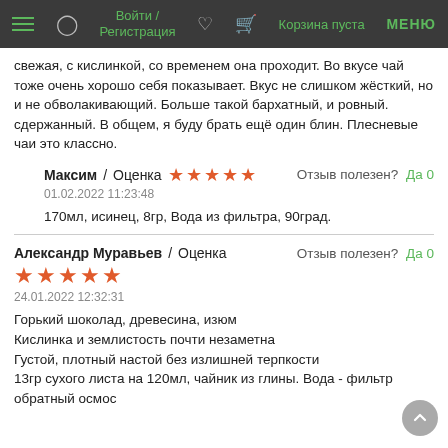Войти / Регистрация   Корзина пуста   МЕНЮ
свежая, с кислинкой, со временем она проходит. Во вкусе чай тоже очень хорошо себя показывает. Вкус не слишком жёсткий, но и не обволакивающий. Больше такой бархатный, и ровный. сдержанный. В общем, я буду брать ещё один блин. Плесневые чаи это классно.
Максим / Оценка ★★★★★  Отзыв полезен? Да 0
01.02.2022 11:23:48
170мл, исинец, 8гр, Вода из фильтра, 90град.
Александр Муравьев / Оценка ★★★★★  Отзыв полезен? Да 0
24.01.2022 12:32:31
Горький шоколад, древесина, изюм
Кислинка и землистость почти незаметна
Густой, плотный настой без излишней терпкости
13гр сухого листа на 120мл, чайник из глины. Вода - фильтр обратный осмос